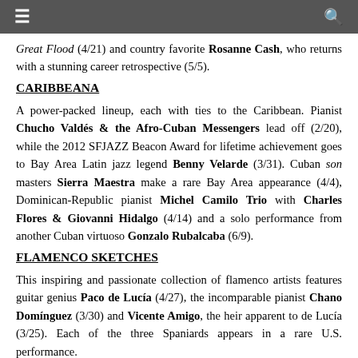≡    🔍
Great Flood (4/21) and country favorite Rosanne Cash, who returns with a stunning career retrospective (5/5).
CARIBBEANA
A power-packed lineup, each with ties to the Caribbean. Pianist Chucho Valdés & the Afro-Cuban Messengers lead off (2/20), while the 2012 SFJAZZ Beacon Award for lifetime achievement goes to Bay Area Latin jazz legend Benny Velarde (3/31). Cuban son masters Sierra Maestra make a rare Bay Area appearance (4/4), Dominican-Republic pianist Michel Camilo Trio with Charles Flores & Giovanni Hidalgo (4/14) and a solo performance from another Cuban virtuoso Gonzalo Rubalcaba (6/9).
FLAMENCO SKETCHES
This inspiring and passionate collection of flamenco artists features guitar genius Paco de Lucía (4/27), the incomparable pianist Chano Domínguez (3/30) and Vicente Amigo, the heir apparent to de Lucía (3/25). Each of the three Spaniards appears in a rare U.S. performance.